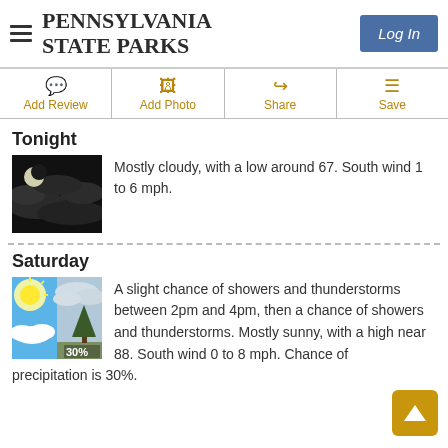PENNSYLVANIA STATE PARKS
Tonight
Mostly cloudy, with a low around 67. South wind 1 to 6 mph.
Saturday
A slight chance of showers and thunderstorms between 2pm and 4pm, then a chance of showers and thunderstorms. Mostly sunny, with a high near 88. South wind 0 to 8 mph. Chance of precipitation is 30%.